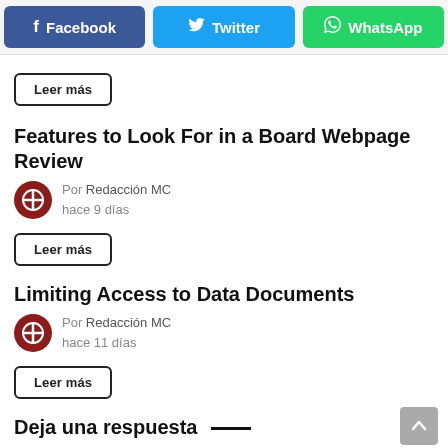[Figure (infographic): Social share buttons: Facebook (blue), Twitter (cyan), WhatsApp (green)]
Leer más
Features to Look For in a Board Webpage Review
Por Redacción MC
hace 9 días
Leer más
Limiting Access to Data Documents
Por Redacción MC
hace 11 días
Leer más
Deja una respuesta